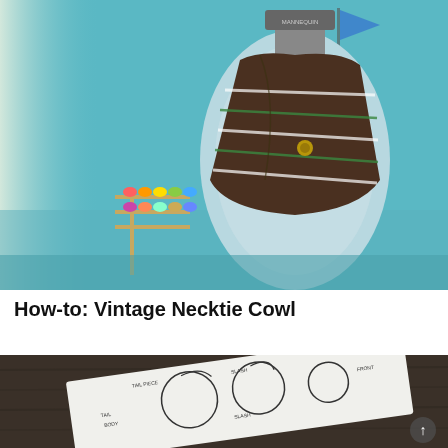[Figure (photo): A dress form/mannequin wearing a brown striped vintage necktie cowl scarf with green and white stripes and a gold button detail, displayed in a craft room with teal walls, thread spools on a rack, and tin cans in the background.]
How-to: Vintage Necktie Cowl
[Figure (photo): A printed diagram/pattern sheet showing circular pattern pieces labeled with terms like 'tail', 'body', 'front', 'slash', etc., placed on a dark wood surface.]